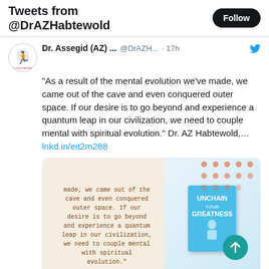Tweets from @DrAZHabtewold
Dr. Assegid (AZ) ... @DrAZH... · 17h
"As a result of the mental evolution we've made, we came out of the cave and even conquered outer space. If our desire is to go beyond and experience a quantum leap in our civilization, we need to couple mental with spiritual evolution." Dr. AZ Habtewold,....lnkd.in/eit2m288
[Figure (screenshot): Embedded LinkedIn card showing a quote image with orange text on beige background and a book cover 'Unchain Your Greatness', with a teal upload/share button circle overlay]
linkedin.com
Dr. Assegid (AZ) Habtewold on LinkedIn: